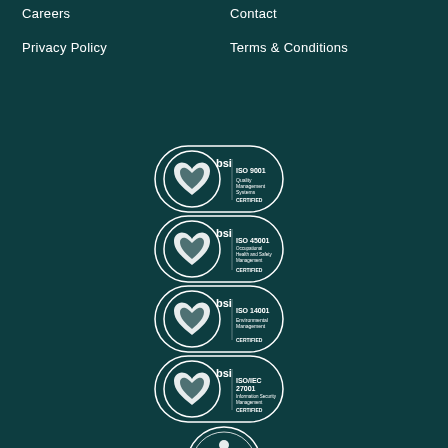Careers
Contact
Privacy Policy
Terms & Conditions
[Figure (logo): BSI ISO 9001 Quality Management Systems Certified badge]
[Figure (logo): BSI ISO 45001 Occupational Health and Safety Management Certified badge]
[Figure (logo): BSI ISO 14001 Environmental Management Certified badge]
[Figure (logo): BSI ISO/IEC 27001 Information Security Management Certified badge]
[Figure (logo): SafeContractor Approved badge]
[Figure (logo): Considerate Constructors badge]